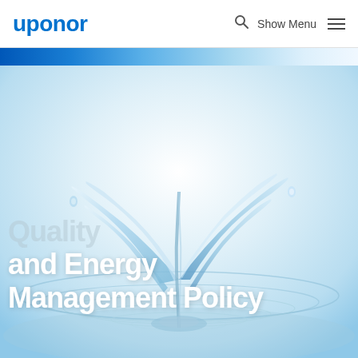uponor  Show Menu
[Figure (photo): A splash of water forming a plant/leaf shape rising from a rippling water surface, on a white/light blue background. The image is a hero banner for a Quality and Energy Management Policy page.]
Quality and Energy Management Policy